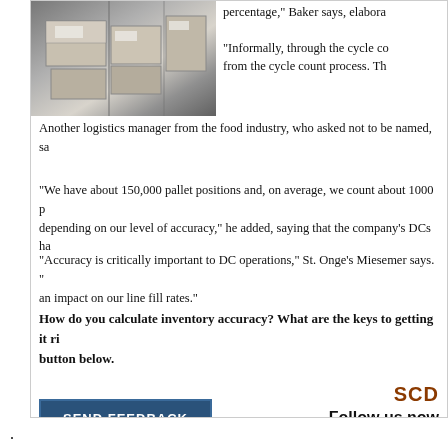[Figure (photo): Warehouse shelving with stacked cardboard boxes]
percentage," Baker says, elabora
"Informally, through the cycle co from the cycle count process. Th
Another logistics manager from the food industry, who asked not to be named, sa
"We have about 150,000 pallet positions and, on average, we count about 1000 p depending on our level of accuracy," he added, saying that the company's DCs ha
"Accuracy is critically important to DC operations," St. Onge's Miesemer says. " an impact on our line fill rates."
How do you calculate inventory accuracy? What are the keys to getting it ri button below.
SCD
Follow us now
SEND FEEDBACK
.